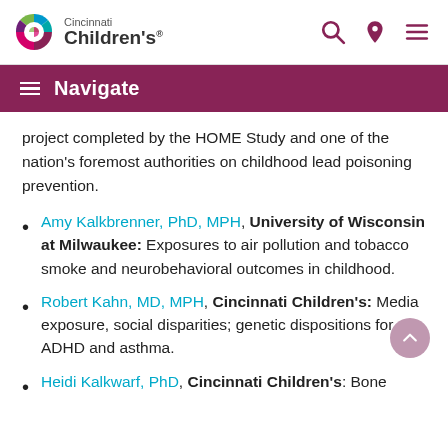[Figure (logo): Cincinnati Children's Hospital logo with colorful circular emblem and text]
Navigate
project completed by the HOME Study and one of the nation's foremost authorities on childhood lead poisoning prevention.
Amy Kalkbrenner, PhD, MPH, University of Wisconsin at Milwaukee: Exposures to air pollution and tobacco smoke and neurobehavioral outcomes in childhood.
Robert Kahn, MD, MPH, Cincinnati Children's: Media exposure, social disparities; genetic dispositions for ADHD and asthma.
Heidi Kalkwarf, PhD, Cincinnati Children's: Bone